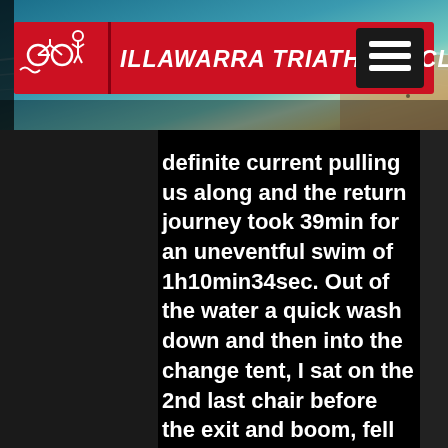[Figure (screenshot): Illawarra Triathlon Club website header with logo on red banner and hamburger menu icon, aerial beach photo background]
definite current pulling us along and the return journey took 39min for an uneventful swim of 1h10min34sec. Out of the water a quick wash down and then into the change tent, I sat on the 2nd last chair before the exit and boom, fell to the ground. The chair just snapped in half and I lay spread eagle on the ground. Volunteers in the immediate vicinity turned to help, but I was more concerned with getting my helmet on and getting